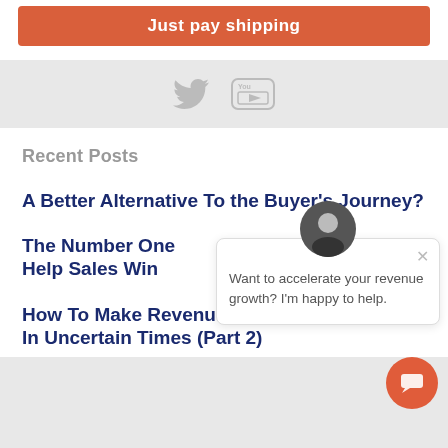[Figure (other): Orange call-to-action button with text 'Just pay shipping']
[Figure (other): Social media icons: Twitter bird icon and YouTube logo in gray]
Recent Posts
A Better Alternative To the Buyer's Journey?
The Number One Help Sales Win
[Figure (other): Chat popup with avatar, close button, and text: Want to accelerate your revenue growth? I'm happy to help.]
How To Make Revenue Growth Predictable In Uncertain Times (Part 2)
[Figure (other): Orange chat circle button in bottom-right corner]